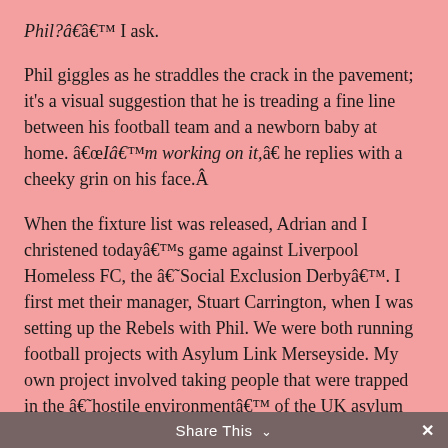Phil?â€ I ask.
Phil giggles as he straddles the crack in the pavement; it’s a visual suggestion that he is treading a fine line between his football team and a newborn baby at home. “I’m working on it,” he replies with a cheeky grin on his face.Â
When the fixture list was released, Adrian and I christened today’s game against Liverpool Homeless FC, the ‘Social Exclusion Derby’. I first met their manager, Stuart Carrington, when I was setting up the Rebels with Phil. We were both running football projects with Asylum Link Merseyside. My own project involved taking people that were trapped in the ‘hostile environment’ of the UK asylum system to football matches at AFC Liverpool. That project subsequently morphed into the Rebels.
Share This